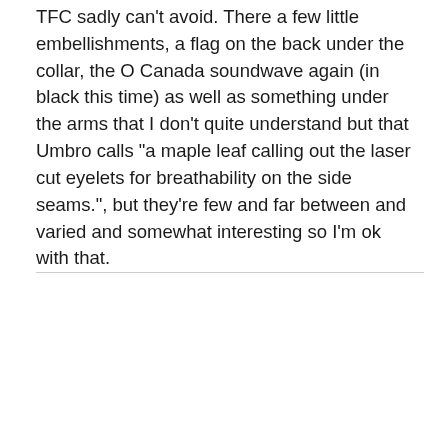TFC sadly can't avoid. There a few little embellishments, a flag on the back under the collar, the O Canada soundwave again (in black this time) as well as something under the arms that I don't quite understand but that Umbro calls "a maple leaf calling out the laser cut eyelets for breathability on the side seams.", but they're few and far between and varied and somewhat interesting so I'm ok with that.
[Figure (screenshot): Advertisement area with grey background labeled AD in top right, followed by a video player showing a young man standing in front of blue-tiled windows in what appears to be a sports facility. The video has a play button overlay and text reading 'Unfold your world'.]